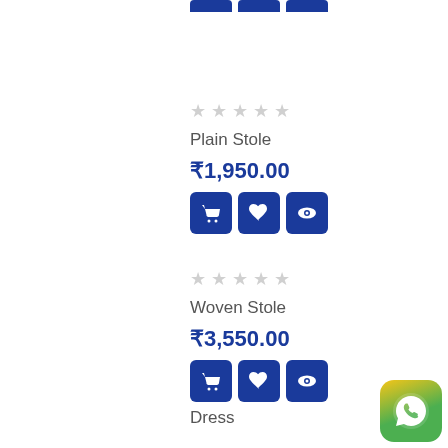[Figure (screenshot): Top cropped blue action buttons (cart, wishlist, eye) partially visible at top]
Plain Stole
₹1,950.00
[Figure (infographic): Three blue action buttons: cart, heart/wishlist, eye/view for Plain Stole]
Woven Stole
₹3,550.00
[Figure (infographic): Three blue action buttons: cart, heart/wishlist, eye/view for Woven Stole]
Dress
₹2,250.00
[Figure (infographic): Three blue action buttons: cart, heart/wishlist, eye/view for Dress (partially visible)]
[Figure (logo): WhatsApp floating button icon at bottom right]